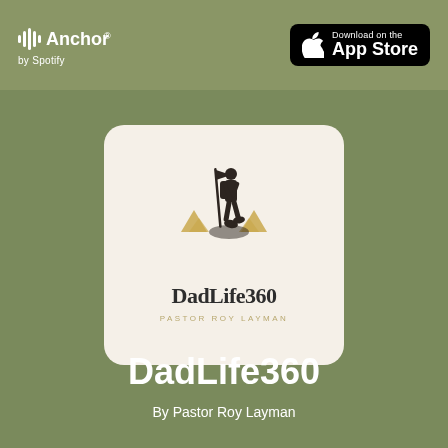Anchor by Spotify — Download on the App Store
[Figure (logo): DadLife360 podcast cover art: a man hiking with a flag and backpack, mountain peaks in gold, on a cream background with 'DadLife360' in serif font and 'PASTOR ROY LAYMAN' in spaced gold letters below]
DadLife360
By Pastor Roy Layman